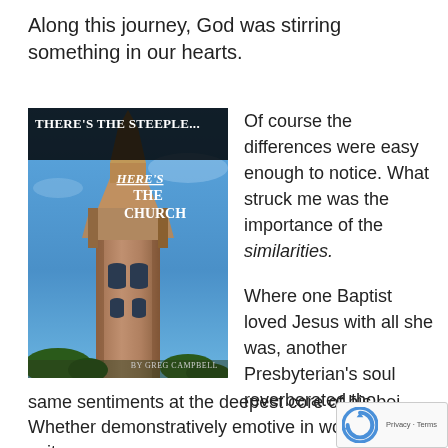Along this journey, God was stirring something in our hearts.
[Figure (photo): Book cover of 'There's The Steeple... Here's The Church' by Greg Campbell, featuring a photo of a tall gothic stone church steeple against a blue sky.]
Of course the differences were easy enough to notice. What struck me was the importance of the similarities.

Where one Baptist loved Jesus with all she was, another Presbyterian's soul reverberated tho same sentiments at the deepest core of his bei Whether demonstratively emotive in worship, or suit-